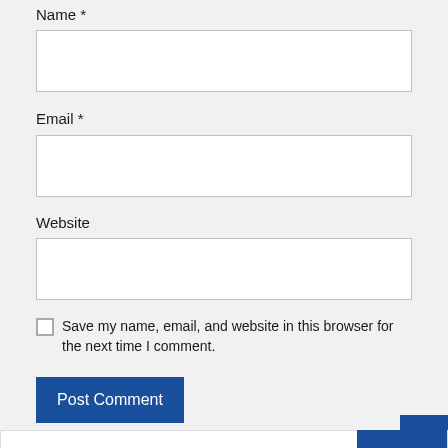Name *
[Figure (screenshot): Empty text input field for Name]
Email *
[Figure (screenshot): Empty text input field for Email]
Website
[Figure (screenshot): Empty text input field for Website]
Save my name, email, and website in this browser for the next time I comment.
Post Comment
Search
Search